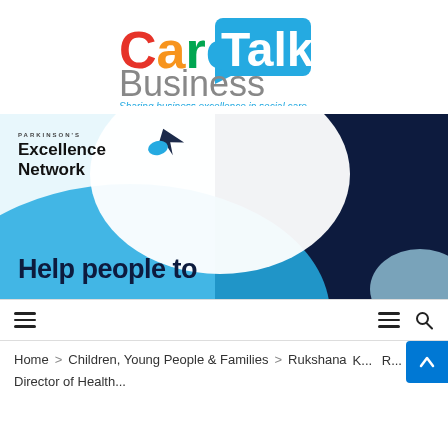[Figure (logo): CareTalk Business logo with tagline 'Sharing business excellence in social care']
[Figure (illustration): Parkinson's Excellence Network banner image showing 'Help people to' text with blue and navy design elements]
Navigation menu bar with hamburger icons and search icon
Home > Children, Young People & Families > Rukshana... Director of Health...